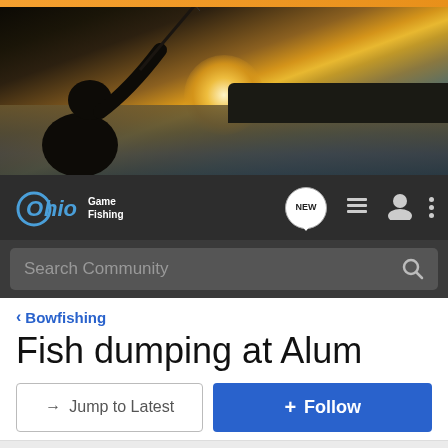[Figure (photo): Hero banner photo of a fisherman silhouette at sunset on a lake, holding a fishing rod with the sun setting on the horizon]
Ohio Game Fishing — navigation bar with logo, NEW badge, list icon, user icon, and menu icon
Search Community
< Bowfishing
Fish dumping at Alum
→ Jump to Latest
+ Follow
1 - 4 of 4 Posts
ReadHeaded Hunter · Catchin eyes 🇺🇸
Joined Apr 17, 2007 · 616 Posts